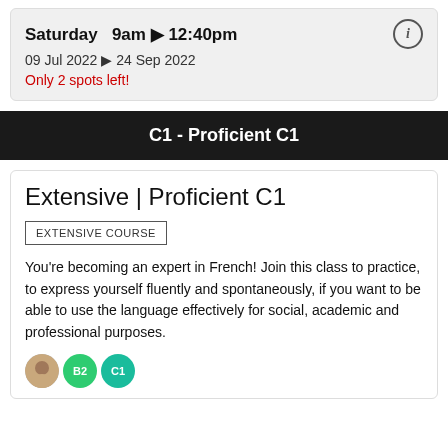Saturday  9am ▶ 12:40pm
09 Jul 2022 ▶ 24 Sep 2022
Only 2 spots left!
C1 - Proficient C1
Extensive | Proficient C1
EXTENSIVE COURSE
You're becoming an expert in French! Join this class to practice, to express yourself fluently and spontaneously, if you want to be able to use the language effectively for social, academic and professional purposes.
[Figure (illustration): Three avatar icons at the bottom: a person photo, a green circle with 'B2', and a teal circle with 'C1']